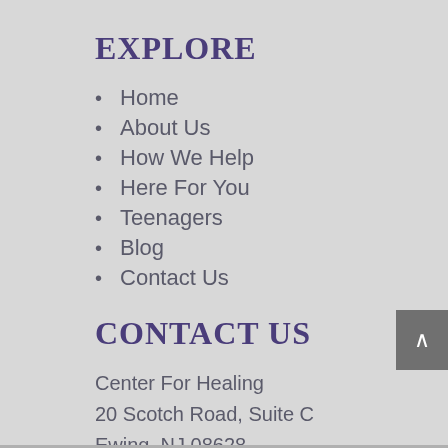EXPLORE
Home
About Us
How We Help
Here For You
Teenagers
Blog
Contact Us
CONTACT US
Center For Healing
20 Scotch Road, Suite C
Ewing, NJ 08628
Tel: 609-583-4915